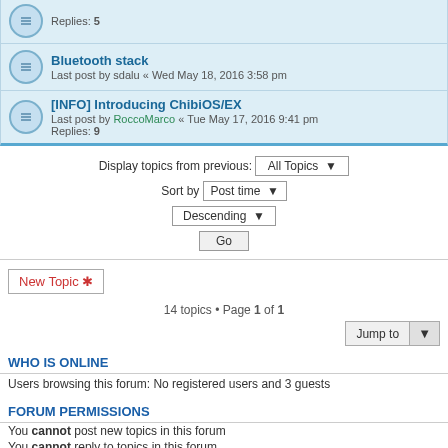Replies: 5
Bluetooth stack
Last post by sdalu « Wed May 18, 2016 3:58 pm
[INFO] Introducing ChibiOS/EX
Last post by RoccoMarco « Tue May 17, 2016 9:41 pm
Replies: 9
Display topics from previous: All Topics ▾
Sort by Post time ▾
Descending ▾
Go
New Topic ✱
14 topics • Page 1 of 1
Jump to
WHO IS ONLINE
Users browsing this forum: No registered users and 3 guests
FORUM PERMISSIONS
You cannot post new topics in this forum
You cannot reply to topics in this forum
You cannot edit your posts in this forum
You cannot delete your posts in this forum
You cannot post attachments in this forum